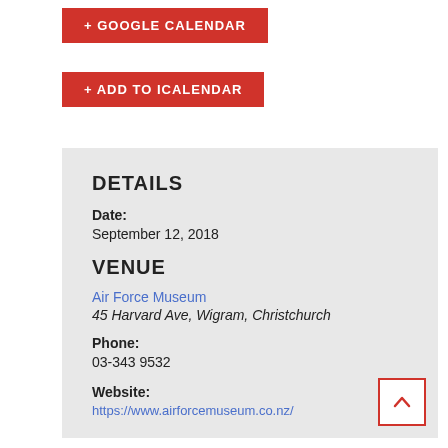+ GOOGLE CALENDAR
+ ADD TO ICALENDAR
DETAILS
Date:
September 12, 2018
VENUE
Air Force Museum
45 Harvard Ave, Wigram, Christchurch
Phone:
03-343 9532
Website:
https://www.airforcemuseum.co.nz/